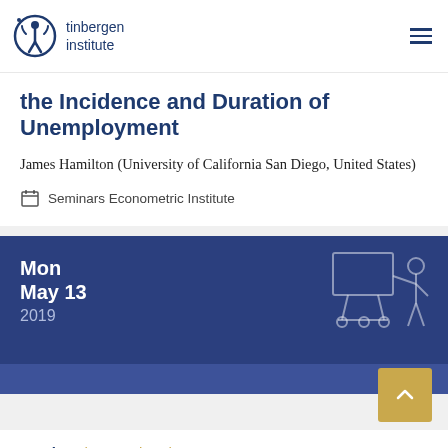tinbergen institute
the Incidence and Duration of Unemployment
James Hamilton (University of California San Diego, United States)
Seminars Econometric Institute
Mon May 13 2019
Seminar | Rotterdam | 16:00 - 17:00